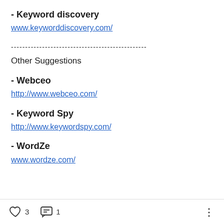- Keyword discovery
www.keyworddiscovery.com/
------------------------------------------------
Other Suggestions
- Webceo
http://www.webceo.com/
- Keyword Spy
http://www.keywordspy.com/
- WordZe
www.wordze.com/
3  1